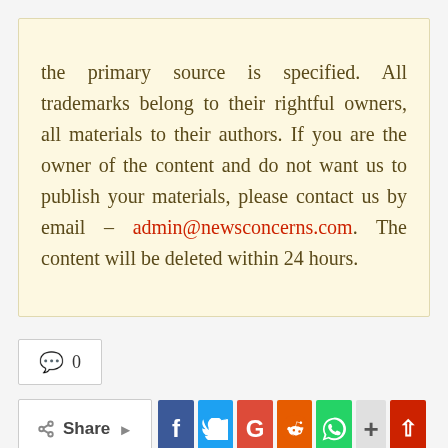the primary source is specified. All trademarks belong to their rightful owners, all materials to their authors. If you are the owner of the content and do not want us to publish your materials, please contact us by email – admin@newsconcerns.com. The content will be deleted within 24 hours.
💬 0
Share (social buttons: Facebook, Twitter, Google+, Reddit, WhatsApp, More, Scroll Top)